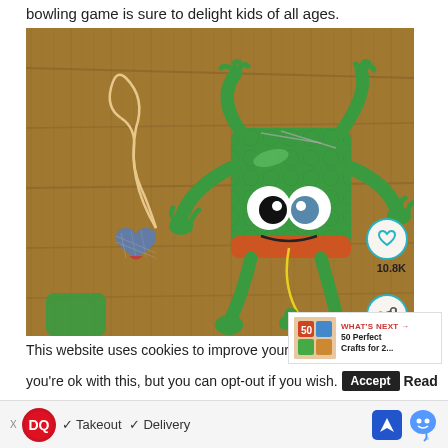bowling game is sure to delight kids of all ages.
[Figure (photo): A green frog craft made from a toilet paper roll, with googly eyes, paper limbs, and elastic strings. A heart-shaped charm is attached on the left side. The craft is photographed on a wooden table background. Overlaid are a heart/favorite button, a share button, and a 10.8K count label.]
[Figure (infographic): What's Next panel showing '50 Perfect Crafts for 2...' with a thumbnail image of colorful crafts.]
This website uses cookies to improve your experience.
you're ok with this, but you can opt-out if you wish.
[Figure (screenshot): Dairy Queen advertisement banner with DQ logo, checkmarks for Takeout and Delivery, a navigation arrow icon, and a Waze icon.]